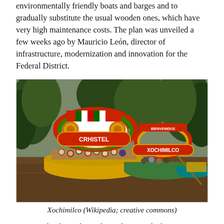environmentally friendly boats and barges and to gradually substitute the usual wooden ones, which have very high maintenance costs. The plan was unveiled a few weeks ago by Mauricio León, director of infrastructure, modernization and innovation for the Federal District.
[Figure (photo): Colorful trajineras (traditional wooden boats) on the canals of Xochimilco, Mexico, decorated with bright arches and flowers, carrying passengers on the water surrounded by trees.]
Xochimilco (Wikipedia; creative commons)
Apparently, the traditional wooden vessels, known as trajineras, with their colorful arches, formerly used mostly to